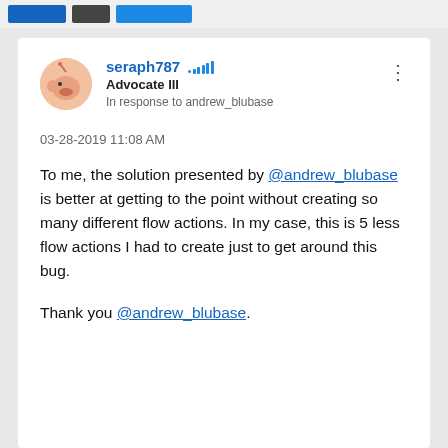[Figure (screenshot): Top navigation bar with blue and dark buttons]
seraph787 Advocate III
In response to andrew_blubase
03-28-2019 11:08 AM
To me, the solution presented by @andrew_blubase is better at getting to the point without creating so many different flow actions.  In my case, this is 5 less flow actions I had to create just to get around this bug.
Thank you @andrew_blubase.